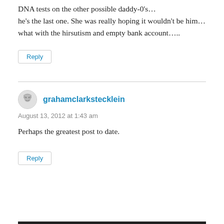DNA tests on the other possible daddy-0's…he's the last one. She was really hoping it wouldn't be him…what with the hirsutism and empty bank account…..
Reply
grahamclarkstecklein
August 13, 2012 at 1:43 am
Perhaps the greatest post to date.
Reply